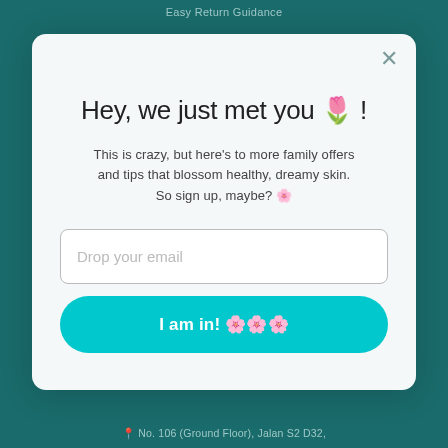Easy Return Guidance
Hey, we just met you 🌷 !
This is crazy, but here's to more family offers and tips that blossom healthy, dreamy skin. So sign up, maybe? 🌸
Drop your email
I am in! 🌸🌸🌸
📍 No. 106 (Ground Floor), Jalan S2 D32,